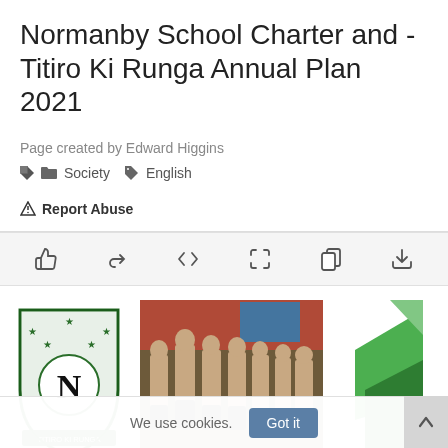Normanby School Charter and - Titiro Ki Runga Annual Plan 2021
Page created by Edward Higgins
Society  English
Report Abuse
[Figure (other): Toolbar with icons: like, share, embed, expand, copy, download]
[Figure (logo): Normanby School shield logo with letter N]
[Figure (photo): Children performing haka in traditional Maori costume]
[Figure (other): Partial green graphic/logo partially visible on the right]
We use cookies.  Got it